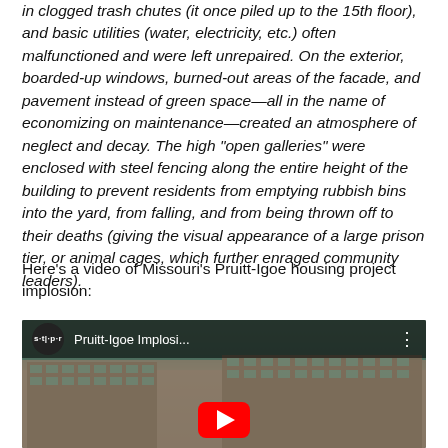in clogged trash chutes (it once piled up to the 15th floor), and basic utilities (water, electricity, etc.) often malfunctioned and were left unrepaired. On the exterior, boarded-up windows, burned-out areas of the facade, and pavement instead of green space—all in the name of economizing on maintenance—created an atmosphere of neglect and decay. The high "open galleries" were enclosed with steel fencing along the entire height of the building to prevent residents from emptying rubbish bins into the yard, from falling, and from being thrown off to their deaths (giving the visual appearance of a large prison tier, or animal cages, which further enraged community leaders).
Here's a video of Missouri's Pruitt-Igoe housing project implosion:
[Figure (screenshot): YouTube video embed thumbnail showing Pruitt-Igoe Implosi... with a channel icon labeled 'stillpr', a red play button, and a background image of a large housing block building.]